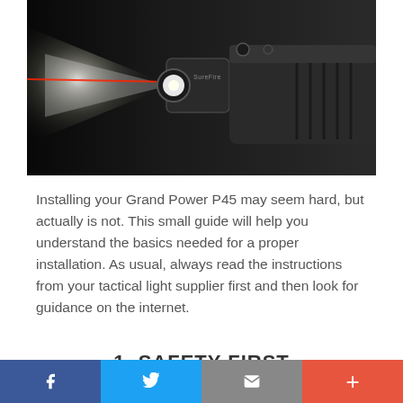[Figure (photo): A tactical flashlight and laser sight mounted on a handgun, emitting a bright white light beam and a red laser beam against a dark background. The SureFire brand logo is visible on the device.]
Installing your Grand Power P45 may seem hard, but actually is not. This small guide will help you understand the basics needed for a proper installation. As usual, always read the instructions from your tactical light supplier first and then look for guidance on the internet.
1. SAFETY FIRST